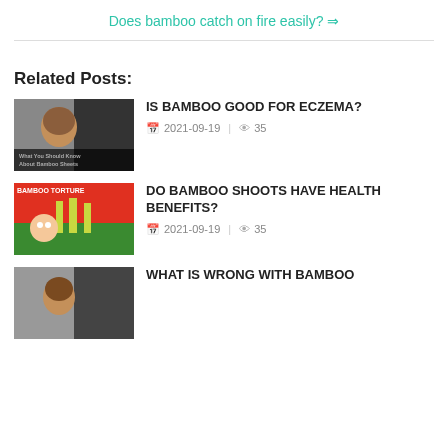Does bamboo catch on fire easily? ⇒
Related Posts:
[Figure (photo): Thumbnail of a woman with text 'What You Should Know About Bamboo Sheets']
IS BAMBOO GOOD FOR ECZEMA?
2021-09-19  |  👁 35
[Figure (illustration): Illustration of 'Bamboo Torture' showing a cartoon person with bamboo shoots, red background]
DO BAMBOO SHOOTS HAVE HEALTH BENEFITS?
2021-09-19  |  👁 35
[Figure (photo): Thumbnail for 'What is Wrong with Bamboo' post]
WHAT IS WRONG WITH BAMBOO